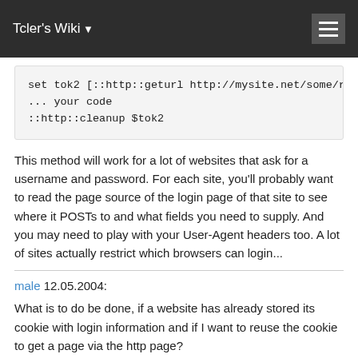Tcler's Wiki
set tok2 [::http::geturl http://mysite.net/some/res
... your code
::http::cleanup $tok2
This method will work for a lot of websites that ask for a username and password. For each site, you'll probably want to read the page source of the login page of that site to see where it POSTs to and what fields you need to supply. And you may need to play with your User-Agent headers too. A lot of sites actually restrict which browsers can login...
male 12.05.2004:
What is to do be done, if a website has already stored its cookie with login information and if I want to reuse the cookie to get a page via the http page?
I read the cookie file and to pass its data like mentioned above with the "-headers [list Cookie ..." option and I changed the useragent